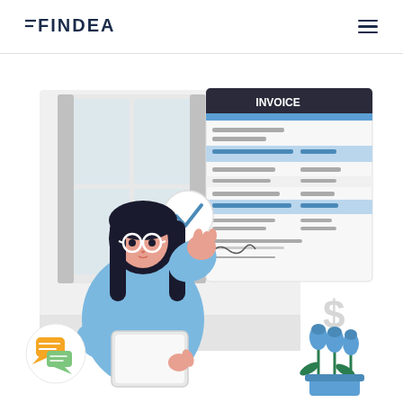[Figure (logo): FINDEA logo in dark navy text with horizontal lines before F]
[Figure (illustration): Flat style illustration of a woman with glasses inspecting an invoice document, with dollar signs, a checkmark speech bubble, chat bubbles, a tablet, blue flowers, and an invoice document showing 'INVOICE' header with blue highlighted rows and a signature area]